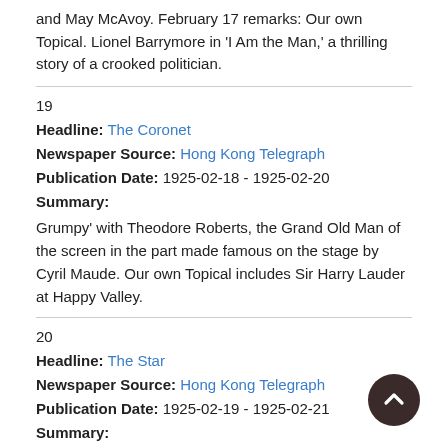and May McAvoy. February 17 remarks: Our own Topical. Lionel Barrymore in 'I Am the Man,' a thrilling story of a crooked politician.
19
Headline: The Coronet
Newspaper Source: Hong Kong Telegraph
Publication Date: 1925-02-18 - 1925-02-20
Summary:
Grumpy' with Theodore Roberts, the Grand Old Man of the screen in the part made famous on the stage by Cyril Maude. Our own Topical includes Sir Harry Lauder at Happy Valley.
20
Headline: The Star
Newspaper Source: Hong Kong Telegraph
Publication Date: 1925-02-19 - 1925-02-21
Summary:
Short engagement of Miss Refa Miller. Tom Mix in a thrilling of Hudson Bay, 'North of the Yukon,' Century Comedy, Felix Cartoon and Our own Topical.